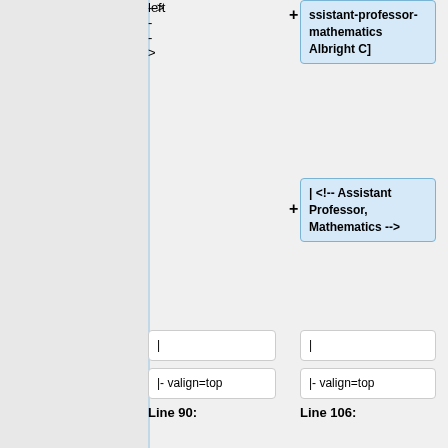ssistant-professor-mathematics Albright C]
| <!-- Assistant Professor, Mathematics -->
|
|
|- valign=top
|- valign=top
Line 90:
Line 106:
| <!--  (Assistant Professor of Mathematics) -->
| <!--  (Assistant Professor of Mathematics) -->
| Dec 1 <!--2012-->
| Dec 1 <!--2012-->
| (M)
|
|
|- valign=top
|- valign=top